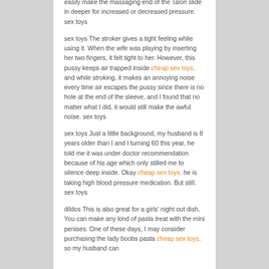easily make the massaging end of the Talon slide in deeper for increased or decreased pressure. sex toys
sex toys The stroker gives a tight feeling while using it. When the wife was playing by inserting her two fingers, it felt tight to her. However, this pussy keeps air trapped inside cheap sex toys, and while stroking, it makes an annoying noise every time air escapes the pussy since there is no hole at the end of the sleeve, and I found that no matter what I did, it would still make the awful noise. sex toys
sex toys Just a little background, my husband is 8 years older than I and I turning 60 this year, he told me it was under doctor recommendation because of his age which only stilled me to silence deep inside. Okay cheap sex toys, he is taking high blood pressure medication. But still. sex toys
dildos This is also great for a girls' night out dish. You can make any kind of pasta treat with the mini penises. One of these days, I may consider purchasing the lady boobs pasta cheap sex toys, so my husband can